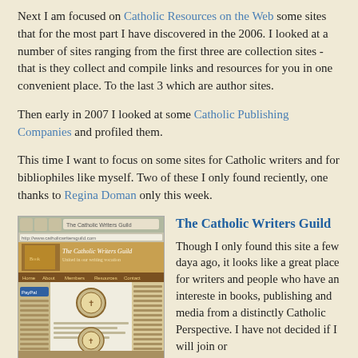Next I am focused on Catholic Resources on the Web some sites that for the most part I have discovered in the 2006. I looked at a number of sites ranging from the first three are collection sites - that is they collect and compile links and resources for you in one convenient place. To the last 3 which are author sites.
Then early in 2007 I looked at some Catholic Publishing Companies and profiled them.
This time I want to focus on some sites for Catholic writers and for bibliophiles like myself. Two of these I only found reciently, one thanks to Regina Doman only this week.
[Figure (screenshot): Screenshot of The Catholic Writers Guild website showing the site header, logo with a cross emblem, and page content in a browser window.]
The Catholic Writers Guild
Though I only found this site a few daya ago, it looks like a great place for writers and people who have an intereste in books, publishing and media from a distinctly Catholic Perspective. I have not decided if I will join or